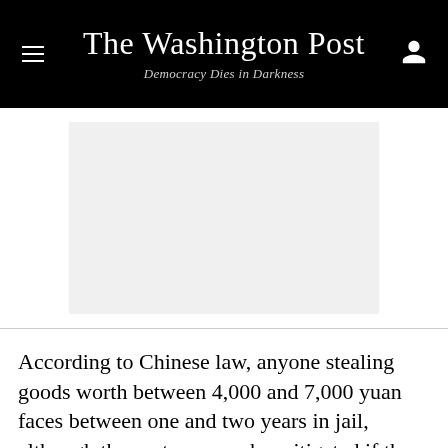The Washington Post — Democracy Dies in Darkness
[Figure (photo): Gray placeholder image for a photo or advertisement]
According to Chinese law, anyone stealing goods worth between 4,000 and 7,000 yuan faces between one and two years in jail, although the sentence can be mitigated if they confess, show remorse and pay